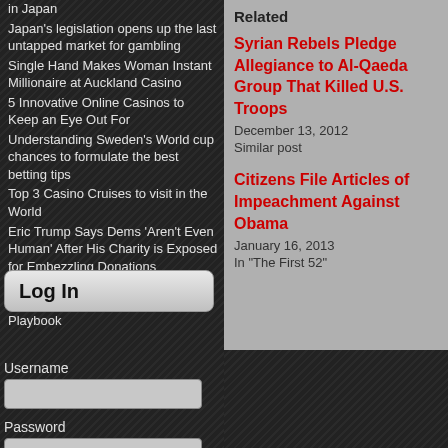in Japan
Japan's legislation opens up the last untapped market for gambling
Single Hand Makes Woman Instant Millionaire at Auckland Casino
5 Innovative Online Casinos to Keep an Eye Out For
Understanding Sweden's World cup chances to formulate the best betting tips
Top 3 Casino Cruises to visit in the World
Eric Trump Says Dems 'Aren't Even Human' After His Charity is Exposed for Embezzling Donations
Trump's Immigrant VOICE Program is Straight Out of Nazi Germany's Playbook
Log In
Username
Password
Remember Me
Log In
Related
Syrian Rebels Pledge Allegiance to Al-Qaeda Group That Killed U.S. Troops
December 13, 2012
Similar post
Citizens File Articles of Impeachment Against Obama
January 16, 2013
In "The First 52"